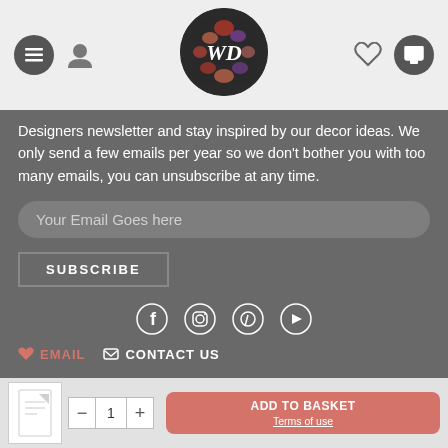WD logo navigation header with menu, user, heart, and cart icons
Designers newsletter and stay inspired by our decor ideas. We only send a few emails per year so we don't bother you with too many emails, you can unsubscribe at any time.
Your Email Goes here
SUBSCRIBE
[Figure (illustration): Social media icons: Facebook, Instagram, Pinterest, YouTube]
EMAIL   CONTACT US
THE COMPANY
LEGAL
Sticky bar with product thumbnail, quantity selector (- 1 +), ADD TO BASKET button, and Terms of use link